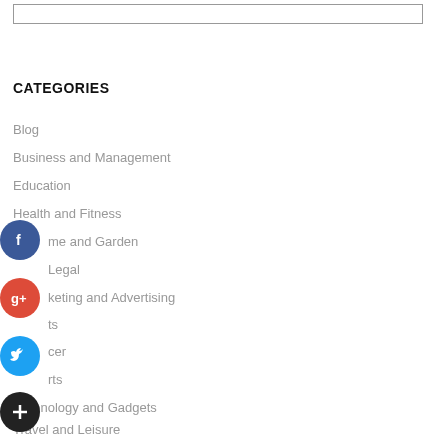[Figure (other): Search input box outline at the top of the page]
CATEGORIES
Blog
Business and Management
Education
Health and Fitness
Home and Garden
Legal
Marketing and Advertising
Pets
Soccer
Sports
Technology and Gadgets
Travel and Leisure